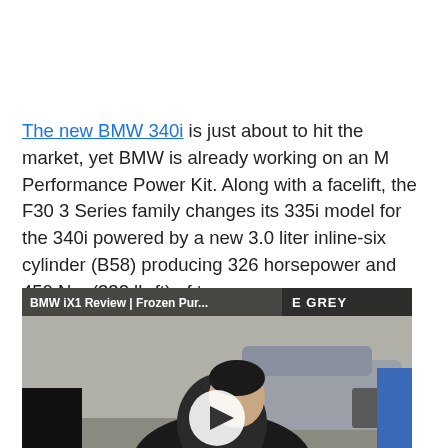The new BMW 340i is just about to hit the market, yet BMW is already working on an M Performance Power Kit. Along with a facelift, the F30 3 Series family changes its 335i model for the 340i powered by a new 3.0 liter inline-six cylinder (B58) producing 326 horsepower and 450 Nm (332 lb-ft) of torque.
[Figure (screenshot): Video thumbnail showing a man in front of a BMW vehicle. Overlay text reads 'BMW iX1 Review | Frozen Pur...' and 'E GREY' on the right. A white circular play button is centered on the image.]